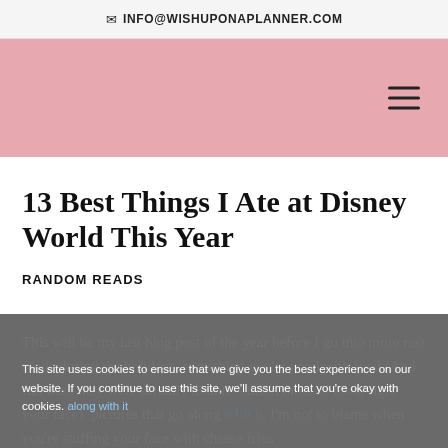INFO@WISHUPONAPLANNER.COM
[Figure (screenshot): Pink navigation bar with hamburger menu icon on the right]
13 Best Things I Ate at Disney World This Year
RANDOM READS
This will be my last blog post of the year before I go into more rest mode during the holidays. something you're good with food (And fun wish they were actually double-stuffed more of food, right your face). pictures that go along with it. I'm not to blame when you're stuffing your face with cheese fries
This site uses cookies to ensure that we give you the best experience on our website. If you continue to use this site, we'll assume that you're okay with cookies. along with it